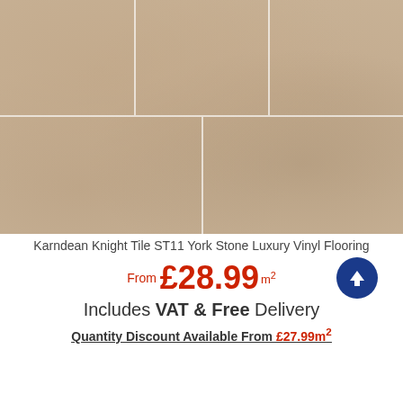[Figure (photo): Stone-look luxury vinyl flooring tiles arranged in a grid pattern with beige/tan stone texture. Top row has 3 tiles, bottom row has 2 larger tiles separated by thin white grout lines.]
Karndean Knight Tile ST11 York Stone Luxury Vinyl Flooring
From £28.99 m²
Includes VAT & Free Delivery
Quantity Discount Available From £27.99m²